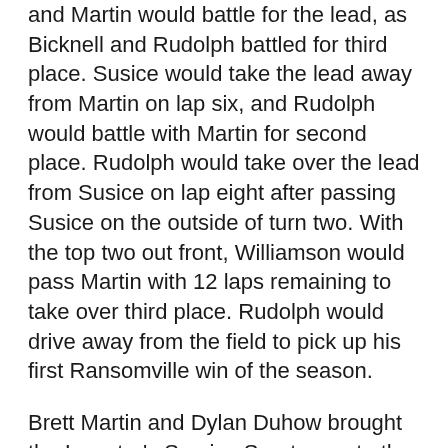and Martin would battle for the lead, as Bicknell and Rudolph battled for third place. Susice would take the lead away from Martin on lap six, and Rudolph would battle with Martin for second place. Rudolph would take over the lead from Susice on lap eight after passing Susice on the outside of turn two. With the top two out front, Williamson would pass Martin with 12 laps remaining to take over third place. Rudolph would drive away from the field to pick up his first Ransomville win of the season.
Brett Martin and Dylan Duhow brought the Investor's Service Sportsman to the green flag with Martin in the lead. Jessica Kriegisch made contact with the turn three wall to bring out the race's first caution on lap two. On the restart, Martin would continue to lead, as Brett Senek would take over second from Duhow. Scott Kerwin would move into the top three on lap 10 after passing Duhow. Martin would continue to lead, with Senek and Kerwin in tight pursuit. Kerwin went three-